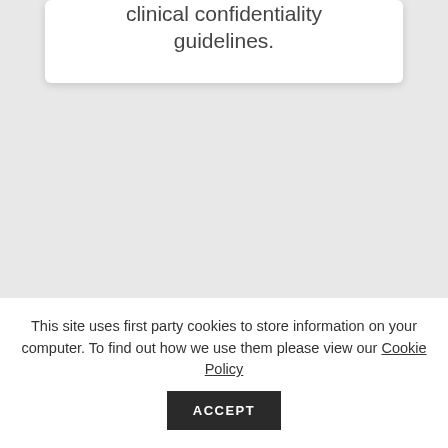clinical confidentiality guidelines.
This site uses first party cookies to store information on your computer. To find out how we use them please view our Cookie Policy